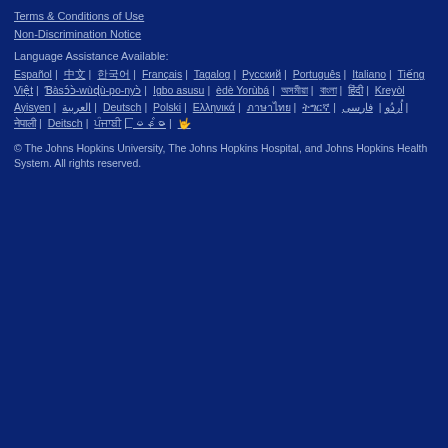Terms & Conditions of Use
Non-Discrimination Notice
Language Assistance Available:
Español | 中文 | 한국어 | Français | Tagalog | Русский | Português | Italiano | Tiếng Việt | Ɓàsɔ́ɔ̀-wùɖù-po-nyɔ̀ | Igbo asusu | èdè Yorùbá | অসমীয়া | বাংলা | हिंदी | Kreyòl Ayisyen | العربية | Deutsch | Polski | Ελληνικά | ภาษาไทย | ትግርኛ | اُردُو | فارسی | नेपाली | Deitsch | ਪੰਜਾਬੀ | မြန်မာ | 🤟
© The Johns Hopkins University, The Johns Hopkins Hospital, and Johns Hopkins Health System. All rights reserved.